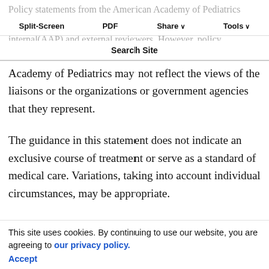Split-Screen  PDF  Share  Tools  Search Site
Policy statements from the American Academy of Pediatrics benefit from expertise and resources of liaisons and internal (AAP) and external reviewers. However, policy statements from the American Academy of Pediatrics may not reflect the views of the liaisons or the organizations or government agencies that they represent.
The guidance in this statement does not indicate an exclusive course of treatment or serve as a standard of medical care. Variations, taking into account individual circumstances, may be appropriate.
This site uses cookies. By continuing to use our website, you are agreeing to our privacy policy. Accept